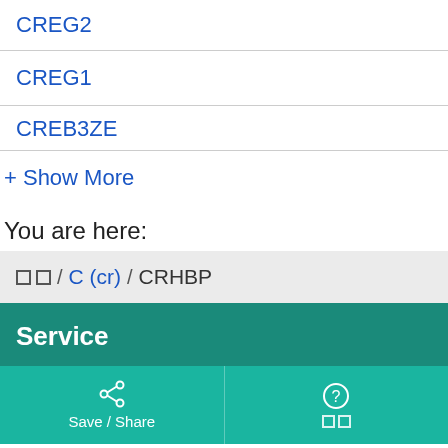CREG2
CREG1
CREB3ZE
+ Show More
You are here:
□□ / C (cr) / CRHBP
Service
Save / Share
□□